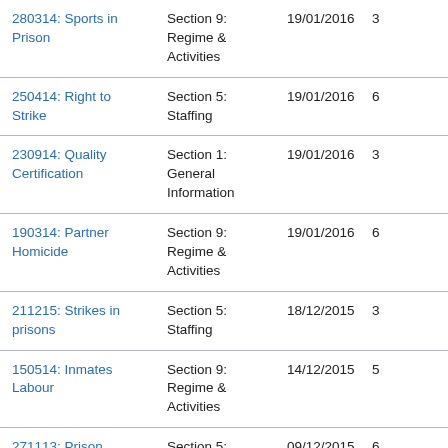| 280314: Sports in Prison | Section 9: Regime & Activities | 19/01/2016 | 3 |  |
| 250414: Right to Strike | Section 5: Staffing | 19/01/2016 | 6 |  |
| 230914: Quality Certification | Section 1: General Information | 19/01/2016 | 3 |  |
| 190314: Partner Homicide | Section 9: Regime & Activities | 19/01/2016 | 6 |  |
| 211215: Strikes in prisons | Section 5: Staffing | 18/12/2015 | 3 |  |
| 150514: Inmates Labour | Section 9: Regime & Activities | 14/12/2015 | 5 |  |
| 271113: Prison Directors | Section 5: Staffing | 09/12/2015 | 6 |  |